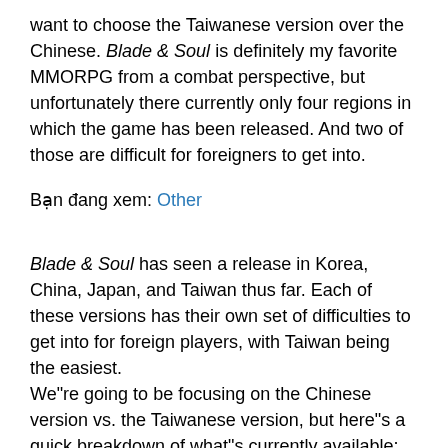want to choose the Taiwanese version over the Chinese. Blade & Soul is definitely my favorite MMORPG from a combat perspective, but unfortunately there currently only four regions in which the game has been released. And two of those are difficult for foreigners to get into.
Bạn đang xem: Other
Blade & Soul has seen a release in Korea, China, Japan, and Taiwan thus far. Each of these versions has their own set of difficulties to get into for foreign players, with Taiwan being the easiest.
We"re going to be focusing on the Chinese version vs. the Taiwanese version, but here"s a quick breakdown of what"s currently available:
BnS Korea - Requires a Korean social security number to